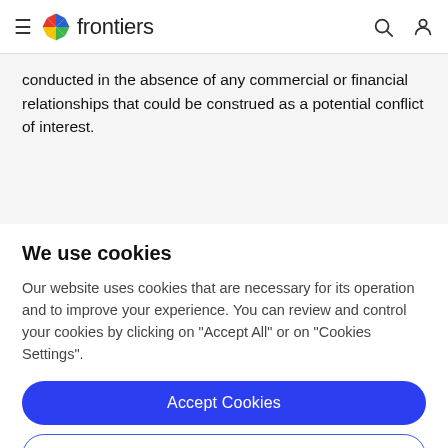frontiers
conducted in the absence of any commercial or financial relationships that could be construed as a potential conflict of interest.
We use cookies
Our website uses cookies that are necessary for its operation and to improve your experience. You can review and control your cookies by clicking on "Accept All" or on "Cookies Settings".
Accept Cookies
Cookies Settings